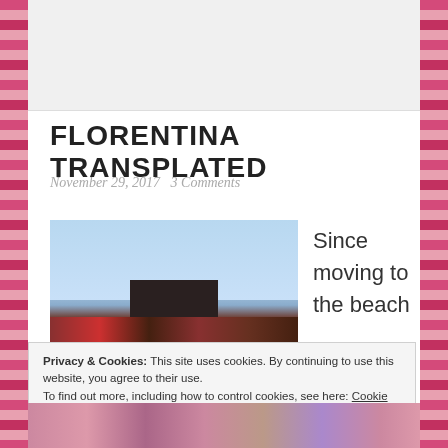FLORENTINA TRANSPLATED
November 29, 2017   3 Comments
[Figure (photo): Photo of a dark ornamental post/finial with flowers in foreground against a light blue sky]
Since moving to the beach
Privacy & Cookies: This site uses cookies. By continuing to use this website, you agree to their use.
To find out more, including how to control cookies, see here: Cookie Policy
Close and accept
[Figure (photo): Partial photo of flowers at bottom]